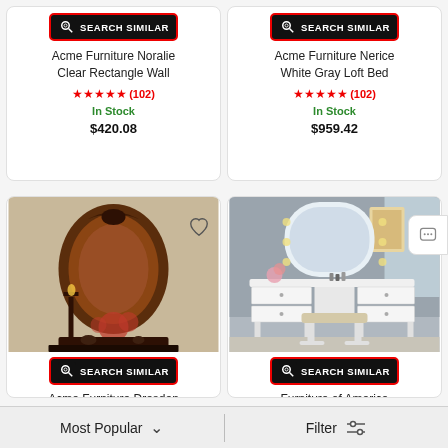[Figure (screenshot): Search Similar button for first product (top left)]
Acme Furniture Noralie Clear Rectangle Wall
★★★★★ (102)
In Stock
$420.08
[Figure (screenshot): Search Similar button for second product (top right)]
Acme Furniture Nerice White Gray Loft Bed
★★★★★ (102)
In Stock
$959.42
[Figure (photo): Acme Furniture Dresden Cherry Oak Mirror product photo - ornate dark wood mirror with candelabra and roses]
[Figure (screenshot): Search Similar button for Dresden mirror]
Acme Furniture Dresden Cherry Oak Mirror
★★★★½ (102)
[Figure (photo): Furniture of America Louise White Vanity with stool product photo]
[Figure (screenshot): Search Similar button for Louise White Vanity]
Furniture of America Louise White Vanity with
★★★★½ (101)
Most Popular
Filter